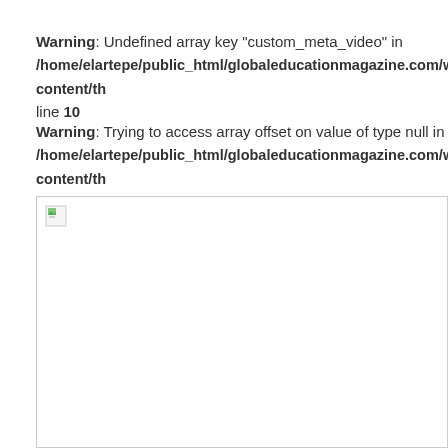Warning: Undefined array key "custom_meta_video" in /home/elartepe/public_html/globaleducationmagazine.com/wp-content/th... line 10
Warning: Trying to access array offset on value of type null in /home/elartepe/public_html/globaleducationmagazine.com/wp-content/th... line 10
[Figure (other): Broken image placeholder with small broken-image icon in top-left corner, white background with border]